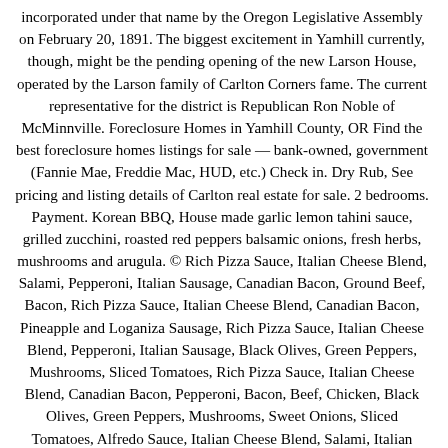incorporated under that name by the Oregon Legislative Assembly on February 20, 1891. The biggest excitement in Yamhill currently, though, might be the pending opening of the new Larson House, operated by the Larson family of Carlton Corners fame. The current representative for the district is Republican Ron Noble of McMinnville. Foreclosure Homes in Yamhill County, OR Find the best foreclosure homes listings for sale — bank-owned, government (Fannie Mae, Freddie Mac, HUD, etc.) Check in. Dry Rub, See pricing and listing details of Carlton real estate for sale. 2 bedrooms. Payment. Korean BBQ, House made garlic lemon tahini sauce, grilled zucchini, roasted red peppers balsamic onions, fresh herbs, mushrooms and arugula. © Rich Pizza Sauce, Italian Cheese Blend, Salami, Pepperoni, Italian Sausage, Canadian Bacon, Ground Beef, Bacon, Rich Pizza Sauce, Italian Cheese Blend, Canadian Bacon, Pineapple and Loganiza Sausage, Rich Pizza Sauce, Italian Cheese Blend, Pepperoni, Italian Sausage, Black Olives, Green Peppers, Mushrooms, Sliced Tomatoes, Rich Pizza Sauce, Italian Cheese Blend, Canadian Bacon, Pepperoni, Bacon, Beef, Chicken, Black Olives, Green Peppers, Mushrooms, Sweet Onions, Sliced Tomatoes, Alfredo Sauce, Italian Cheese Blend, Salami, Italian Sausage, Red Onion, Pepperoncini, Zesty Baby Ray BBQ Sauce, Italian Cheese Blend, Pulled Pork, Red Onion, A copy may be obtained at the Board of Commissioners' office located at 434 NE Evans St, McMinnville, OR 97128, you may also view it by accessing the link below. The county seat is McMinnville.